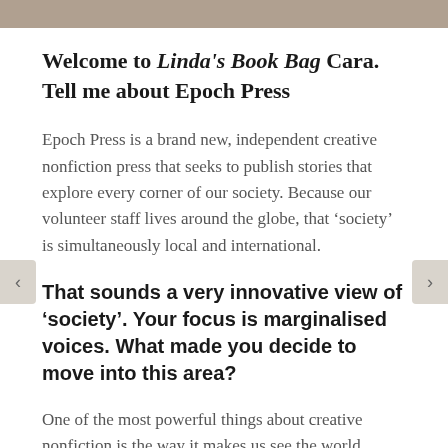[Figure (photo): Partial image strip at top of page, cropped photograph]
Welcome to Linda's Book Bag Cara. Tell me about Epoch Press
Epoch Press is a brand new, independent creative nonfiction press that seeks to publish stories that explore every corner of our society. Because our volunteer staff lives around the globe, that ‘society’ is simultaneously local and international.
That sounds a very innovative view of ‘society’. Your focus is marginalised voices. What made you decide to move into this area?
One of the most powerful things about creative nonfiction is the way it makes us see the world around us— not only through the lens of someone else’s perspective, but also through the way it ties together